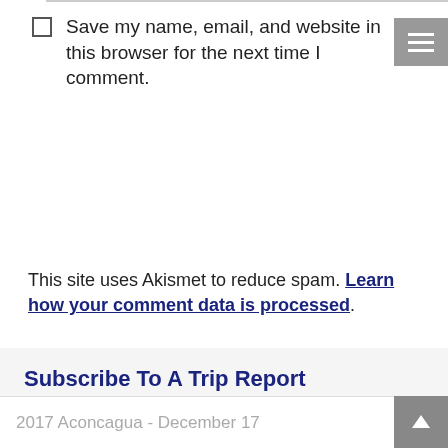Save my name, email, and website in this browser for the next time I comment.
Post comment
This site uses Akismet to reduce spam. Learn how your comment data is processed.
Subscribe To A Trip Report
Select a Trip Report below and receive an email when we post an update.
Select a Trip Report
2017 Aconcagua - December 17